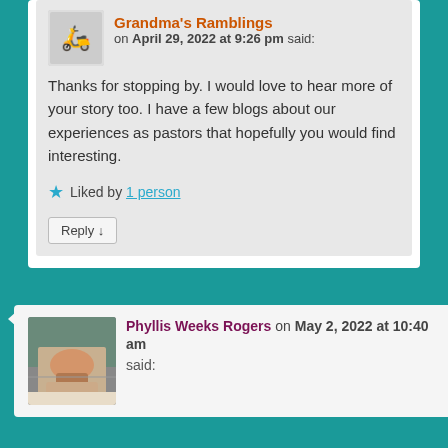Grandma's Ramblings on April 29, 2022 at 9:26 pm said:
Thanks for stopping by. I would love to hear more of your story too. I have a few blogs about our experiences as pastors that hopefully you would find interesting.
Liked by 1 person
Reply
Phyllis Weeks Rogers on May 2, 2022 at 10:40 am said: